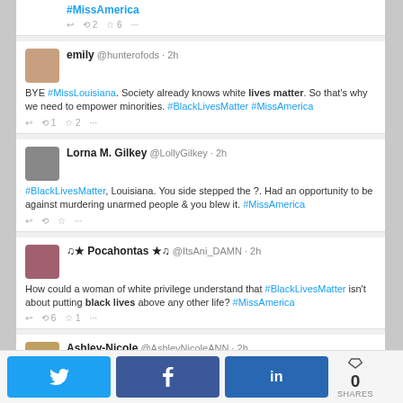[Figure (screenshot): Screenshot of Twitter timeline showing tweets about #MissAmerica and #BlackLivesMatter from multiple users including emily @hunterofods, Lorna M. Gilkey @LollyGilkey, Pocahontas @ItsAni_DAMN, Ashley-Nicole @AshleyNicoleANN, Vic Camille @tea_addivt, and Tyler Jones partial tweet]
[Figure (infographic): Social share bar with Twitter, Facebook, LinkedIn buttons and 0 SHARES count]